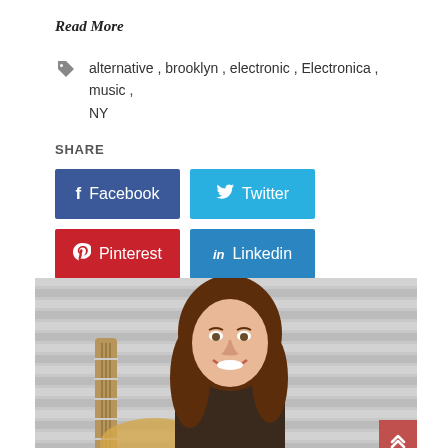Read More
alternative , brooklyn , electronic , Electronica , music , NY
SHARE
Facebook  Twitter  Pinterest  Linkedin
[Figure (photo): Woman with long brown hair smiling, holding a guitar, seated in front of metal blinds/shutters background]